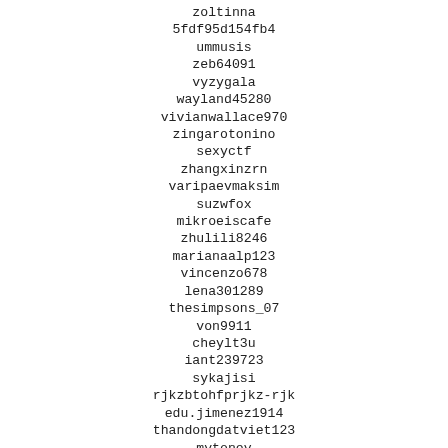zoltinna
5fdf95d154fb4
ummusis
zeb64091
vyzygala
wayland45280
vivianwallace970
zingarotonino
sexyctf
zhangxinzrn
varipaevmaksim
suzwfox
mikroeiscafe
zhulili8246
marianaalp123
vincenzo678
lena301289
thesimpsons_07
von9911
cheylt3u
iant239723
sykajisi
rjkzbtohfprjkz-rjk
edu.jimenez1914
thandongdatviet123
mytoney
prg4droid
huynhmap75
suzanne.r.lafleur
yahoo.fr15091977